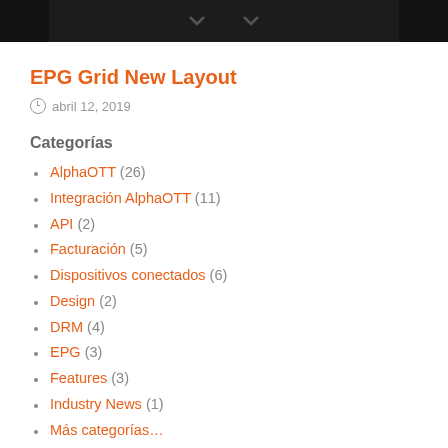[Figure (photo): Dark background image with faint chevron/arrow icons visible, appears to be a UI screenshot cropped at top]
EPG Grid New Layout
abril 12, 2019
Categorías
AlphaOTT (26)
Integración AlphaOTT (11)
API (2)
Facturación (5)
Dispositivos conectados (6)
Design (2)
DRM (4)
EPG (3)
Features (3)
Industry News (1)
Más categorías (parcial)